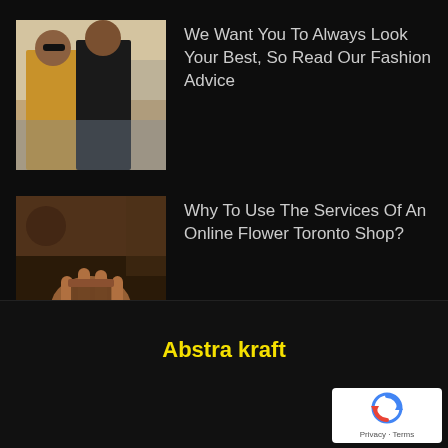[Figure (photo): Two women in stylish coats walking in an urban setting, fashion street style photo]
We Want You To Always Look Your Best, So Read Our Fashion Advice
[Figure (photo): A hand holding a cup or object in a dark warm-toned setting, flower shop related photo]
Why To Use The Services Of An Online Flower Toronto Shop?
Abstra kraft
[Figure (logo): Google reCAPTCHA badge with Privacy and Terms links]